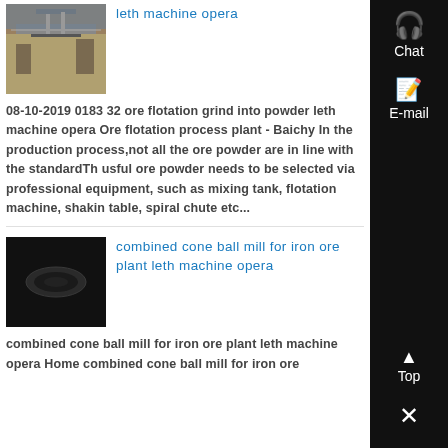[Figure (photo): Factory floor interior with overhead crane and industrial equipment]
leth machine opera
08-10-2019 0183 32 ore flotation grind into powder leth machine opera Ore flotation process plant - Baichy In the production process,not all the ore powder are in line with the standardThe usful ore powder needs to be selected via professional equipment, such as mixing tank, flotation machine, shaking table, spiral chute etc...
[Figure (photo): Dark background with oval/lens shaped object]
combined cone ball mill for iron ore plant leth machine opera
combined cone ball mill for iron ore plant leth machine opera Home combined cone ball mill for iron ore